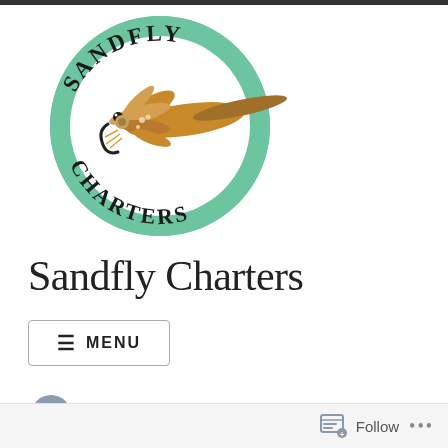[Figure (logo): Sandfly Charters circular logo with mint green background, featuring a fishing fly lure illustration in brown/tan colors, with 'SANDFLY' text arched at top and 'CHARTERS' text arched at bottom in dark serif font]
Sandfly Charters
≡ MENU
[Figure (logo): Facebook social media icon - circular dark blue/grey icon with 'f' logo]
Follow ...